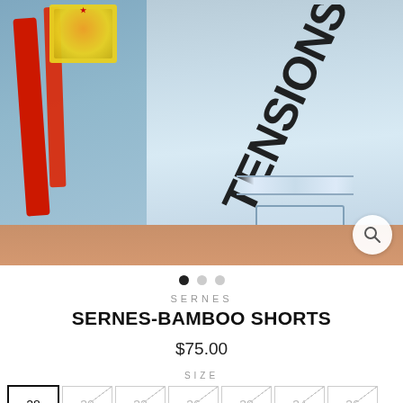[Figure (photo): Close-up product photo of distressed light-wash denim shorts (SERNES-BAMBOO SHORTS) with graphic prints, red stripes, graffiti-style text reading 'TENSIONS', rips and fraying. Model's legs visible.]
SERNES
SERNES-BAMBOO SHORTS
$75.00
SIZE
28  30  32  36  38  34  36